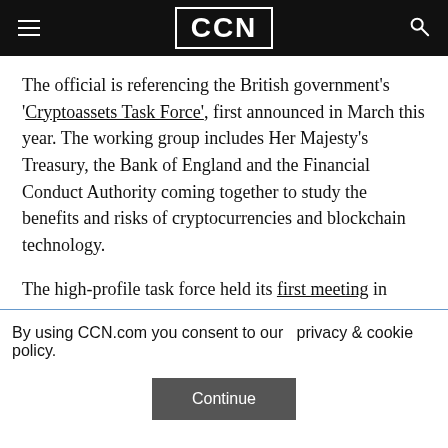CCN
The official is referencing the British government's 'Cryptoassets Task Force', first announced in March this year. The working group includes Her Majesty's Treasury, the Bank of England and the Financial Conduct Authority coming together to study the benefits and risks of cryptocurrencies and blockchain technology.
The high-profile task force held its first meeting in
By using CCN.com you consent to our  privacy & cookie policy.
Continue